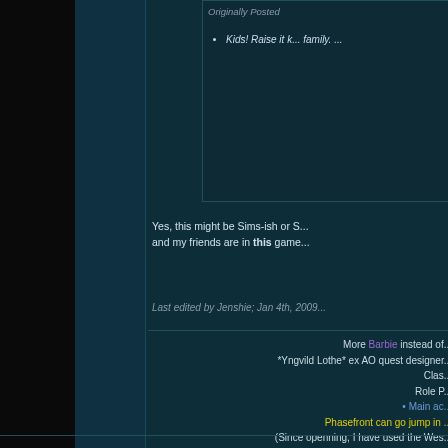Originally Posted
Kids! Raise it k... family. ...
Yes, this might be Sims-ish or S... and my friends are in this game...
Last edited by Jenshie; Jan 4th, 2009...
More Barbie instead of... *Yngvild Lothe* ex AO quest designer... Clas... Role P... • Main ac...
Phasefront can go jump in... (Since openning, I have used the Wes... ALLNEUTS - always helping... Neutral, can mean real freedom for y... forums. Hope... Expansions don't enhance the game... easier to catch up in orde... Kahava - "... we k...